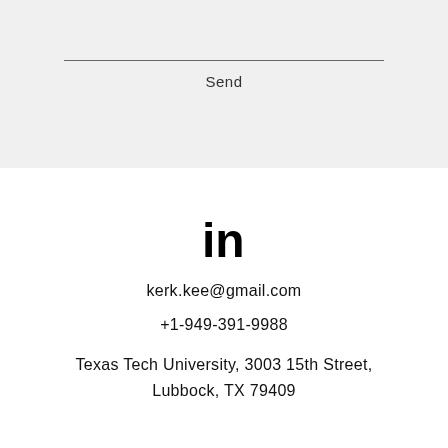[Figure (screenshot): A light gray UI form area with a horizontal input line and a 'Send' button label below it]
Send
[Figure (logo): LinkedIn 'in' logo icon in black]
kerk.kee@gmail.com
+1-949-391-9988
Texas Tech University, 3003 15th Street, Lubbock, TX 79409